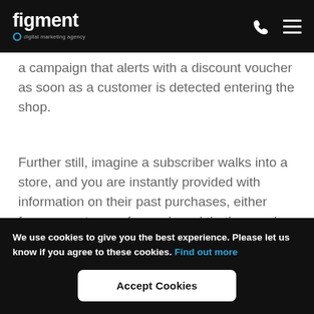figment digital marketing agency
a campaign that alerts with a discount voucher as soon as a customer is detected entering the shop.
Further still, imagine a subscriber walks into a store, and you are instantly provided with information on their past purchases, either from your store or from a brand that's on sale there. These details can be used to formulate a highly targeted offer that has precisely the
We use cookies to give you the best experience. Please let us know if you agree to these cookies. Find out more
Accept Cookies